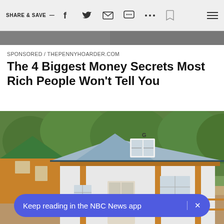SHARE & SAVE —
[Figure (photo): Partial photo visible at top of page behind toolbar area]
SPONSORED / THEPENNYHOARDER.COM
The 4 Biggest Money Secrets Most Rich People Won't Tell You
[Figure (photo): Small cabin-style tiny homes with gambrel roofs, wood siding and porches, set in a wooded area]
Keep reading in the NBC News app